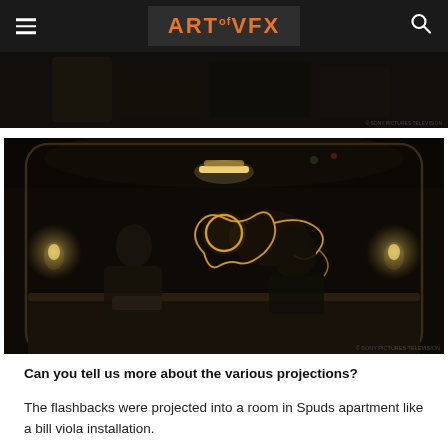ART of VFX
[Figure (photo): Partial dark scene image at top, appears to be a room interior with dark background]
[Figure (photo): Dark scene showing two people at a counter/desk with glowing light energy figure projected on a transparent surface in front of them, with wall sconces on either side, rounded window frame]
Can you tell us more about the various projections?
The flashbacks were projected into a room in Spuds apartment like a bill viola installation.